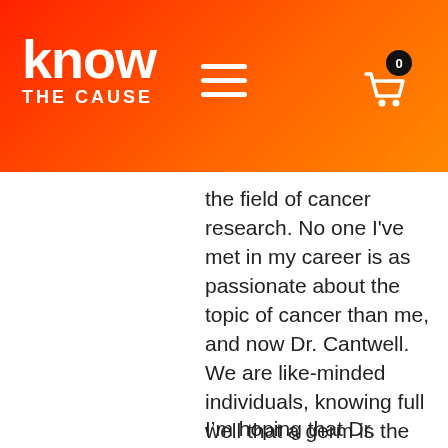know THE CAUSE
the field of cancer research. No one I've met in my career is as passionate about the topic of cancer than me, and now Dr. Cantwell. We are like-minded individuals, knowing full well that a germ is the causative agent of cancer. I prefer walking for “the cause” over racing for “the cure!”
I'm hoping that Dr. Cantwell's words above